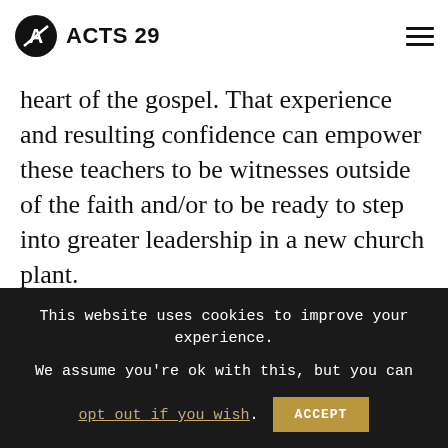ACTS 29
heart of the gospel. That experience and resulting confidence can empower these teachers to be witnesses outside of the faith and/or to be ready to step into greater leadership in a new church plant.
What are some of
This website uses cookies to improve your experience. We assume you're ok with this, but you can opt out if you wish. ACCEPT